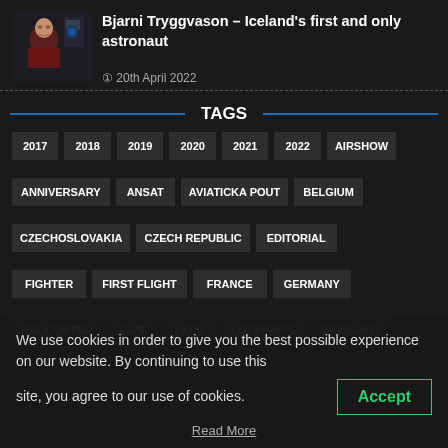[Figure (photo): Photo of Bjarni Tryggvason, astronaut, seated at controls in a dark red shirt]
Bjarni Tryggvason – Iceland's first and only astronaut
20th April 2022
TAGS
2017
2018
2019
2020
2021
2022
AIRSHOW
ANNIVERSARY
ANSAT
AVIATICKA POUT
BELGIUM
CZECHOSLOVAKIA
CZECH REPUBLIC
EDITORIAL
FIGHTER
FIRST FLIGHT
FRANCE
GERMANY
HELICOPTER
IL-76
LKPD
LUFTWAFFE
MAKS-2019
We use cookies in order to give you the best possible experience on our website. By continuing to use this site, you agree to our use of cookies.
Accept
Read More